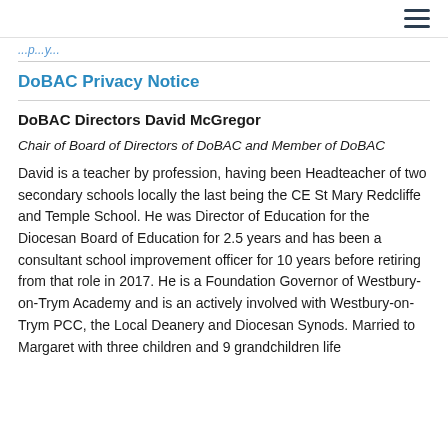☰ (hamburger menu icon)
...p...y...
DoBAC Privacy Notice
DoBAC Directors
David McGregor
Chair of Board of Directors of DoBAC and Member of DoBAC
David is a teacher by profession, having been Headteacher of two secondary schools locally the last being the CE St Mary Redcliffe and Temple School. He was Director of Education for the Diocesan Board of Education for 2.5 years and has been a consultant school improvement officer for 10 years before retiring from that role in 2017. He is a Foundation Governor of Westbury-on-Trym Academy and is an actively involved with Westbury-on-Trym PCC, the Local Deanery and Diocesan Synods. Married to Margaret with three children and 9 grandchildren life